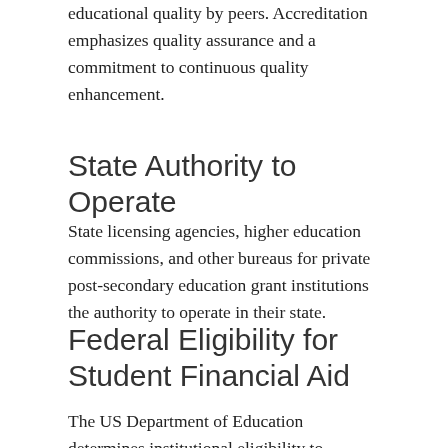educational quality by peers. Accreditation emphasizes quality assurance and a commitment to continuous quality enhancement.
State Authority to Operate
State licensing agencies, higher education commissions, and other bureaus for private post-secondary education grant institutions the authority to operate in their state.
Federal Eligibility for Student Financial Aid
The US Department of Education determines institutional eligibility to participate in federal financial aid offered to students and enforces